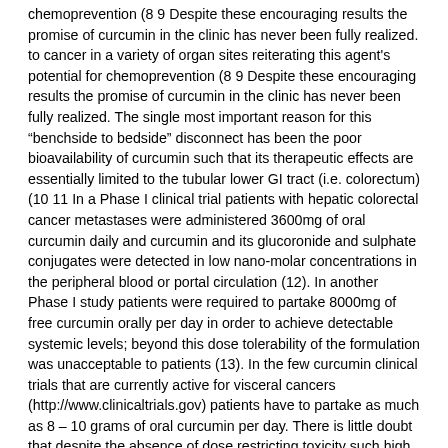chemoprevention (8 9 Despite these encouraging results the promise of curcumin in the clinic has never been fully realized. to cancer in a variety of organ sites reiterating this agent's potential for chemoprevention (8 9 Despite these encouraging results the promise of curcumin in the clinic has never been fully realized. The single most important reason for this "benchside to bedside" disconnect has been the poor bioavailability of curcumin such that its therapeutic effects are essentially limited to the tubular lower GI tract (i.e. colorectum) (10 11 In a Phase I clinical trial patients with hepatic colorectal cancer metastases were administered 3600mg of oral curcumin daily and curcumin and its glucoronide and sulphate conjugates were detected in low nano-molar concentrations in the peripheral blood or portal circulation (12). In another Phase I study patients were required to partake 8000mg of free curcumin orally per day in order to achieve detectable systemic levels; beyond this dose tolerability of the formulation was unacceptable to patients (13). In the few curcumin clinical trials that are currently active for visceral cancers (http://www.clinicaltrials.gov) patients have to partake as much as 8 – 10 grams of oral curcumin per day. There is little doubt that despite the absence of dose restricting toxicity such high dosages severely influence upon patient conformity because of a metallic after-taste and linked GI discomfort. Because of these problems there's been a considerable curiosity about developing formulations that enable improved systemic bioavailability. We envisioned that nanoparticle-